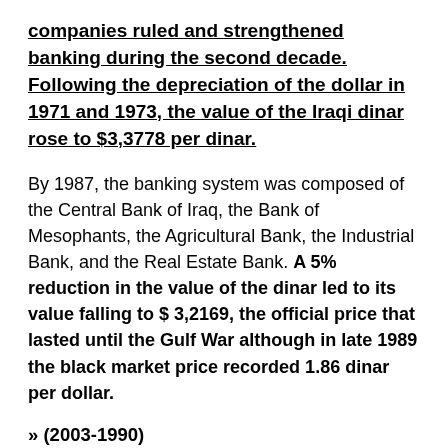companies ruled and strengthened banking during the second decade. Following the depreciation of the dollar in 1971 and 1973, the value of the Iraqi dinar rose to $3,3778 per dinar.
By 1987, the banking system was composed of the Central Bank of Iraq, the Bank of Mesophants, the Agricultural Bank, the Industrial Bank, and the Real Estate Bank. A 5% reduction in the value of the dinar led to its value falling to $ 3,2169, the official price that lasted until the Gulf War although in late 1989 the black market price recorded 1.86 dinar per dollar.
» (2003-1990)
After the Gulf War of 1991 and due to the imposition of economic siege, Swiss printing technology was no longer used as before, a new issue of poor quality